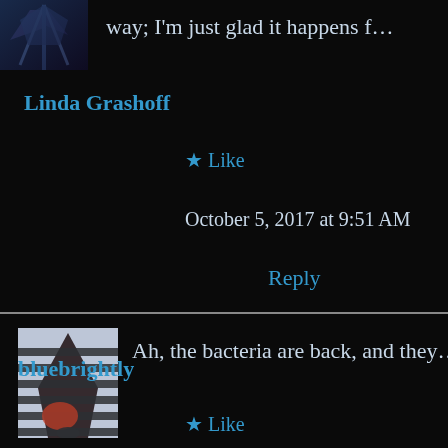[Figure (photo): Small avatar thumbnail image at top left, appears to show abstract dark/colorful image]
way; I'm just glad it happens f…
Linda Grashoff
★ Like
October 5, 2017 at 9:51 AM
Reply
[Figure (photo): Avatar thumbnail showing hand with striped shadow pattern, dark background]
Ah, the bacteria are back, and they…
bluebrightly
★ Like